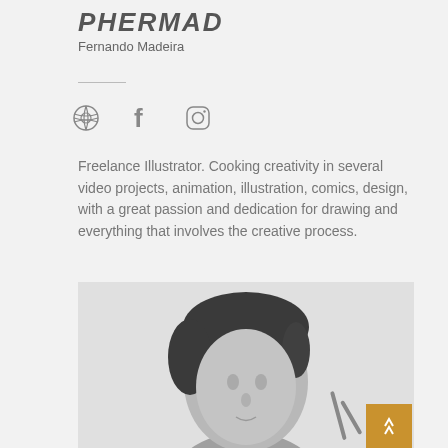PHERMAD
Fernando Madeira
[Figure (illustration): Social media icons: WordPress globe, Facebook f, Instagram camera]
Freelance Illustrator. Cooking creativity in several video projects, animation, illustration, comics, design, with a great passion and dedication for drawing and everything that involves the creative process.
[Figure (photo): Black and white photo of a young man with dark hair, smiling slightly, with a small object on the wall behind him.]